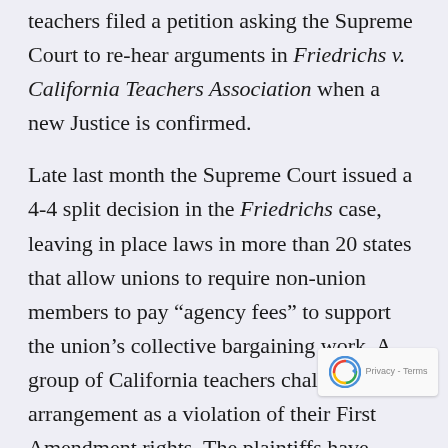teachers filed a petition asking the Supreme Court to re-hear arguments in Friedrichs v. California Teachers Association when a new Justice is confirmed.
Late last month the Supreme Court issued a 4-4 split decision in the Friedrichs case, leaving in place laws in more than 20 states that allow unions to require non-union members to pay “agency fees” to support the union’s collective bargaining work. A group of California teachers challenged this arrangement as a violation of their First Amendment rights. The plaintiffs have opted-out of paying for the union’s political campaign activity, but object to paying for collective bargaining work because they say that is also political.
“Tens of thousands of public sector workers—teache...